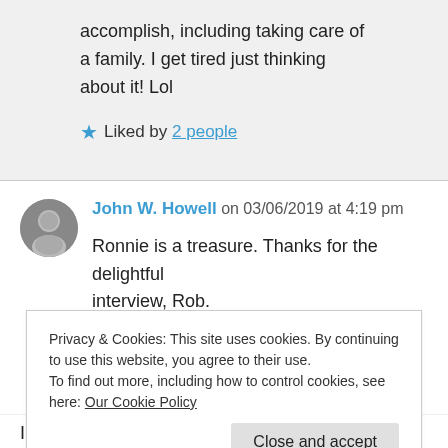accomplish, including taking care of a family. I get tired just thinking about it! Lol
★ Liked by 2 people
John W. Howell on 03/06/2019 at 4:19 pm
Ronnie is a treasure. Thanks for the delightful interview, Rob.
Privacy & Cookies: This site uses cookies. By continuing to use this website, you agree to their use. To find out more, including how to control cookies, see here: Our Cookie Policy
Close and accept
I don't know why this wound up in spam,